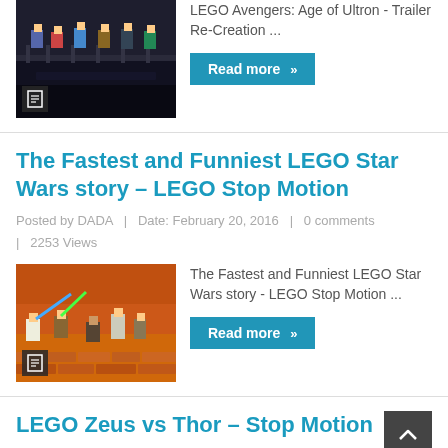[Figure (photo): LEGO Avengers minifigures scene thumbnail with document icon overlay]
LEGO Avengers: Age of Ultron - Trailer Re-Creation ...
Read more »
The Fastest and Funniest LEGO Star Wars story – LEGO Stop Motion
Posted by DADA   |   Date: February 20, 2016   |   0 comments   |   2253 Views
[Figure (photo): LEGO Star Wars minifigures battle scene thumbnail with document icon overlay]
The Fastest and Funniest LEGO Star Wars story - LEGO Stop Motion ...
Read more »
LEGO Zeus vs Thor – Stop Motion